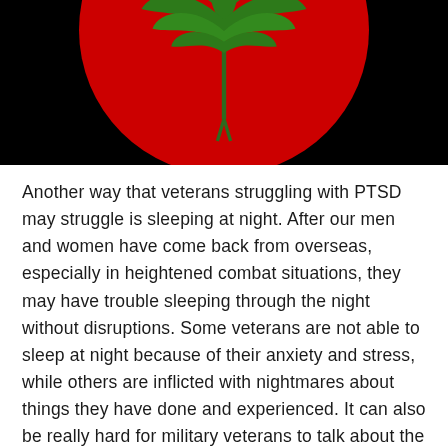[Figure (illustration): A cannabis/marijuana leaf in green centered on a large red circle against a black background, cropped at top showing only the lower portion of the circle and leaf.]
Another way that veterans struggling with PTSD may struggle is sleeping at night. After our men and women have come back from overseas, especially in heightened combat situations, they may have trouble sleeping through the night without disruptions. Some veterans are not able to sleep at night because of their anxiety and stress, while others are inflicted with nightmares about things they have done and experienced. It can also be really hard for military veterans to talk about the trauma that they have experienced.
Many of them have repressed and